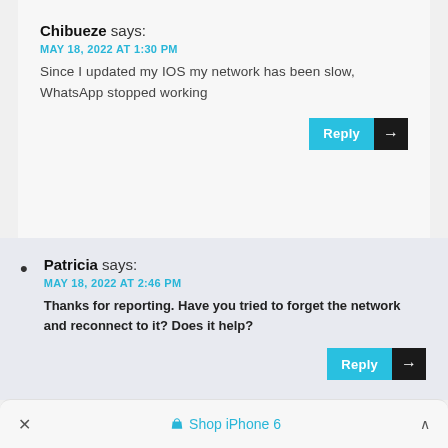Chibueze says:
MAY 18, 2022 AT 1:30 PM
Since I updated my IOS my network has been slow, WhatsApp stopped working
Reply →
Patricia says:
MAY 18, 2022 AT 2:46 PM
Thanks for reporting. Have you tried to forget the network and reconnect to it? Does it help?
Reply →
× Shop iPhone 6 ^